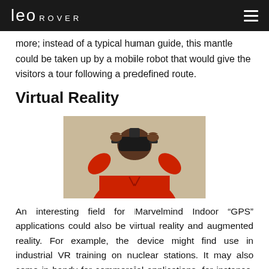Leo Rover
more; instead of a typical human guide, this mantle could be taken up by a mobile robot that would give the visitors a tour following a predefined route.
Virtual Reality
[Figure (photo): Person wearing a VR headset, dressed in a red hoodie, holding the headset with both hands against a light background.]
An interesting field for Marvelmind Indoor “GPS” applications could also be virtual reality and augmented reality. For example, the device might find use in industrial VR training on nuclear stations. It may also come in handy for commercial applications, for instance, selling houses with the